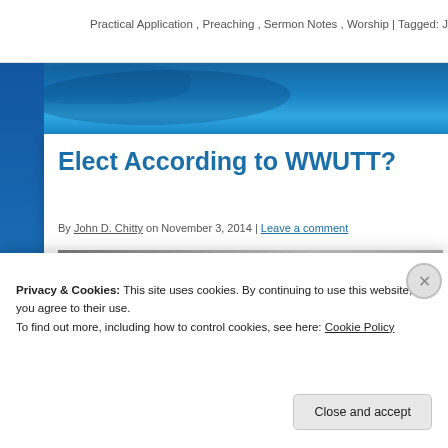Practical Application, Preaching, Sermon Notes, Worship | Tagged: John, La
Elect According to WWUTT?
By John D. Chitty on November 3, 2014 | Leave a comment
[Figure (screenshot): WWUTT podcast thumbnail showing circular logo with text 'WWUTT' and caption 'According to the Foreknowledge of God?' on a grey gradient background]
Privacy & Cookies: This site uses cookies. By continuing to use this website, you agree to their use.
To find out more, including how to control cookies, see here: Cookie Policy
Close and accept